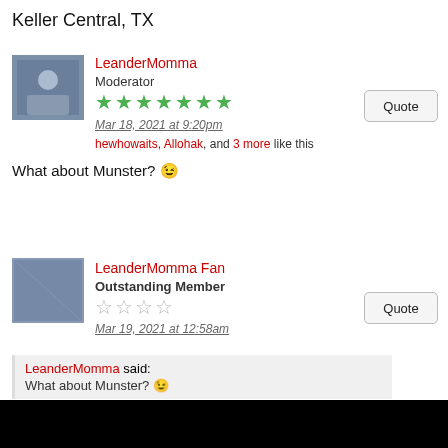Keller Central, TX
LeanderMomma
Moderator
★★★★★★★
Mar 18, 2021 at 9:20pm
hewhowaits, Allohak, and 3 more like this
What about Munster? 😉
LeanderMomma Fan
Outstanding Member
☆☆☆☆
Mar 19, 2021 at 12:58am
LeanderMomma said:
What about Munster? 😉
I say we call them to convince them to make the trip!!
LeanderMomma
Moderator
★★★★★★★